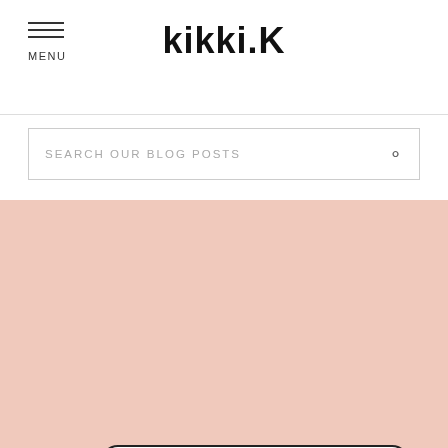kikki.K
SEARCH OUR BLOG POSTS
[Figure (infographic): Pink background card with text 'MOST LIKELY TO: Coordinate their stationery to their outfit']